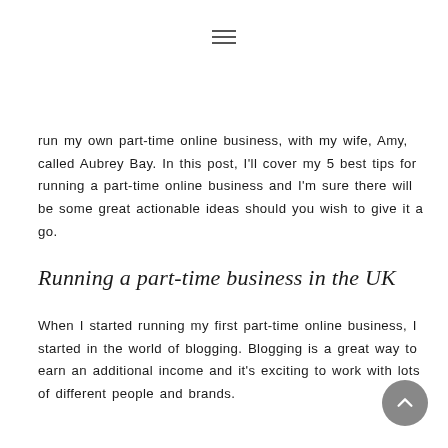≡
run my own part-time online business, with my wife, Amy, called Aubrey Bay. In this post, I'll cover my 5 best tips for running a part-time online business and I'm sure there will be some great actionable ideas should you wish to give it a go.
Running a part-time business in the UK
When I started running my first part-time online business, I started in the world of blogging. Blogging is a great way to earn an additional income and it's exciting to work with lots of different people and brands.